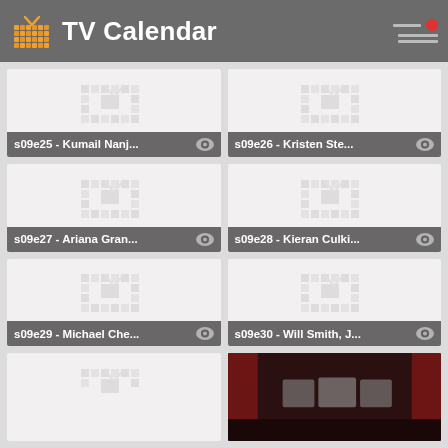TV Calendar
[Figure (screenshot): TV Calendar app grid showing episode thumbnails with placeholder TV icons]
s09e25 - Kumail Nanj...
s09e26 - Kristen Ste...
s09e27 - Ariana Gran...
s09e28 - Kieran Culki...
s09e29 - Michael Che...
s09e30 - Will Smith, J...